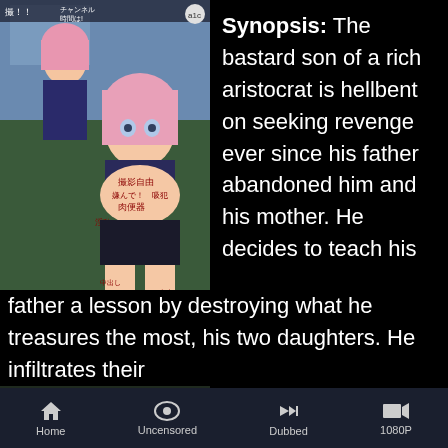[Figure (illustration): Anime illustration showing two female characters in a school setting with Japanese text written on them. The image has a watermark-style label at the bottom left in Japanese.]
Synopsis: The bastard son of a rich aristocrat is hellbent on seeking revenge ever since his father abandoned him and his mother. He decides to teach his father a lesson by destroying what he treasures the most, his two daughters. He infiltrates their
Home | Uncensored | Dubbed | 1080P